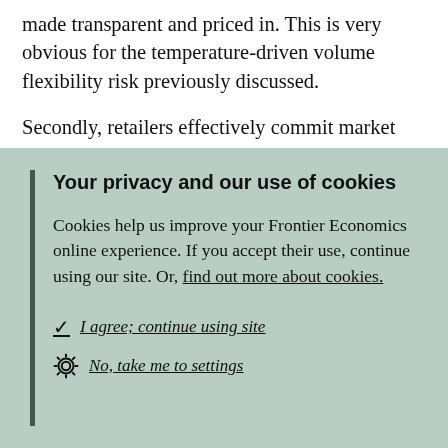made transparent and priced in. This is very obvious for the temperature-driven volume flexibility risk previously discussed.

Secondly, retailers effectively commit market risk capital. This is capital that was previously available to all
Your privacy and our use of cookies

Cookies help us improve your Frontier Economics online experience. If you accept their use, continue using our site. Or, find out more about cookies.

✓ I agree; continue using site
⚙ No, take me to settings